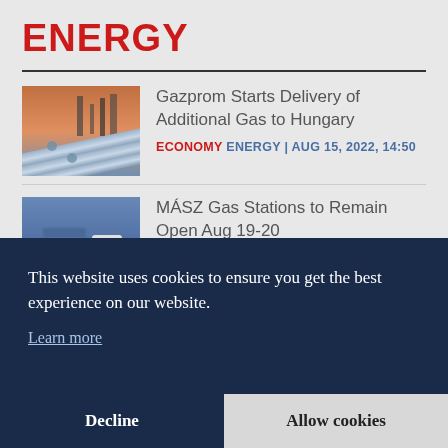ENERGY
Gazprom Starts Delivery of Additional Gas to Hungary
ECONOMY ENERGY | AUG 15, 2022, 14:50
MÁSZ Gas Stations to Remain Open Aug 19-20
This website uses cookies to ensure you get the best experience on our website.
Learn more
Decline
Allow cookies